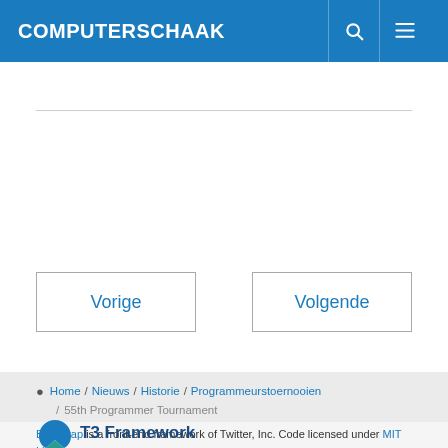COMPUTERSCHAAK
Vorige
Volgende
Home / Nieuws / Historie / Programmeurstoernooien / 55th Programmer Tournament
Bootstrap is a front-end framework of Twitter, Inc. Code licensed under MIT License.
Font Awesome font licensed under SIL OFL 1.1.
T3 Framework